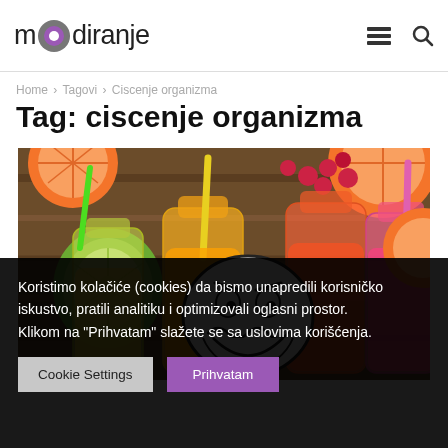moodiranje
Home › Tagovi › Ciscenje organizma
Tag: ciscenje organizma
[Figure (photo): Colorful fruit juices in glass bottles with straws on a wooden surface, with raspberries, kiwi, grapefruit, and a troll face meme overlaid.]
Koristimo kolačiće (cookies) da bismo unapredili korisničko iskustvo, pratili analitiku i optimizovali oglasni prostor. Klikom na "Prihvatam" slažete se sa uslovima korišćenja.
Cookie Settings   Prihvatam